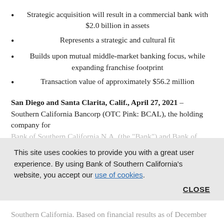Strategic acquisition will result in a commercial bank with $2.0 billion in assets
Represents a strategic and cultural fit
Builds upon mutual middle-market banking focus, while expanding franchise footprint
Transaction value of approximately $56.2 million
San Diego and Santa Clarita, Calif., April 27, 2021 – Southern California Bancorp (OTC Pink: BCAL), the holding company for Bank of Southern California N.A. (the "Bank") and Bank of
This site uses cookies to provide you with a great user experience. By using Bank of Southern California's website, you accept our use of cookies.
CLOSE
Southern California. Based on financial results as of December